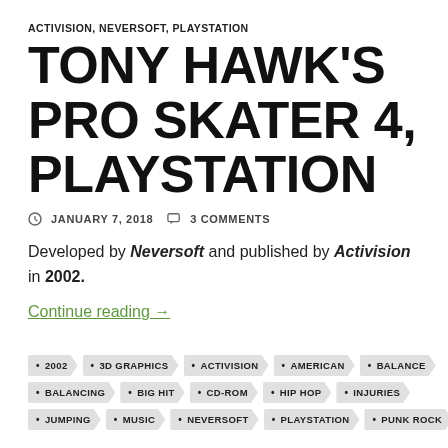ACTIVISION, NEVERSOFT, PLAYSTATION
TONY HAWK'S PRO SKATER 4, PLAYSTATION
JANUARY 7, 2018   3 COMMENTS
Developed by Neversoft and published by Activision in 2002.
Continue reading →
2002
3D GRAPHICS
ACTIVISION
AMERICAN
BALANCE
BALANCING
BIG HIT
CD-ROM
HIP HOP
INJURIES
JUMPING
MUSIC
NEVERSOFT
PLAYSTATION
PUNK ROCK